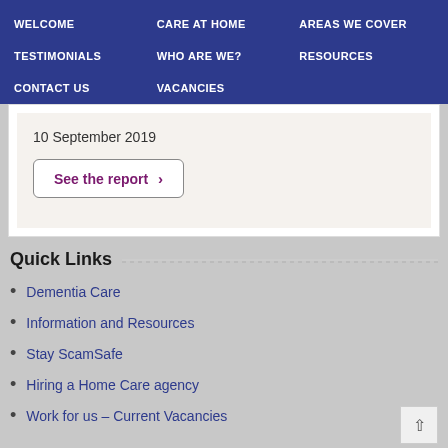WELCOME | CARE AT HOME | AREAS WE COVER | TESTIMONIALS | WHO ARE WE? | RESOURCES | CONTACT US | VACANCIES
10 September 2019
See the report ›
Quick Links
Dementia Care
Information and Resources
Stay ScamSafe
Hiring a Home Care agency
Work for us – Current Vacancies